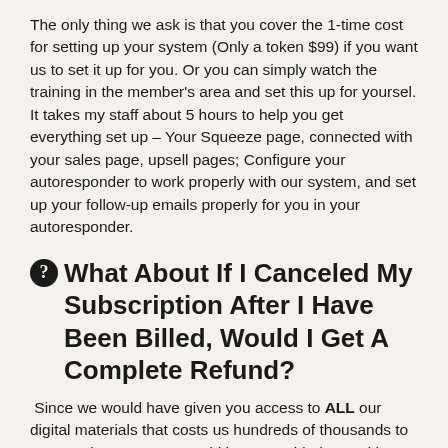The only thing we ask is that you cover the 1-time cost for setting up your system (Only a token $99) if you want us to set it up for you. Or you can simply watch the training in the member's area and set this up for yoursel. It takes my staff about 5 hours to help you get everything set up – Your Squeeze page, connected with your sales page, upsell pages; Configure your autoresponder to work properly with our system, and set up your follow-up emails properly for you in your autoresponder.
❓ What About If I Canceled My Subscription After I Have Been Billed, Would I Get A Complete Refund?
Since we would have given you access to ALL our digital materials that costs us hundreds of thousands to put together, AND we would have provided you with some training and coaching which will start immediately after you enrolled for the 4 Step Program, we would not be able to refund you for the month already charged at the time you